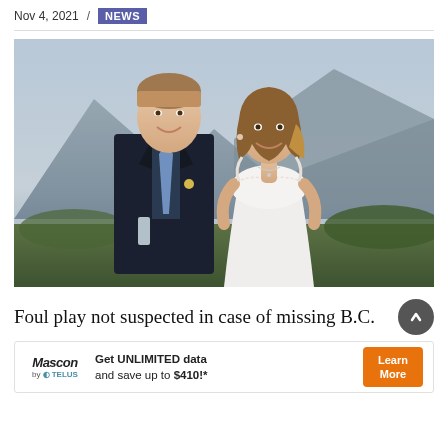Nov 4, 2021 / NEWS
[Figure (photo): A young couple dressed for a wedding posing outdoors with mountains and greenery in the background. The man wears a dark suit with a blue tie and holds a champagne glass; the woman wears a white lace wedding dress.]
Foul play not suspected in case of missing B.C.
Get UNLIMITED data and save up to $410!* — Mascon by TELUS — Learn More